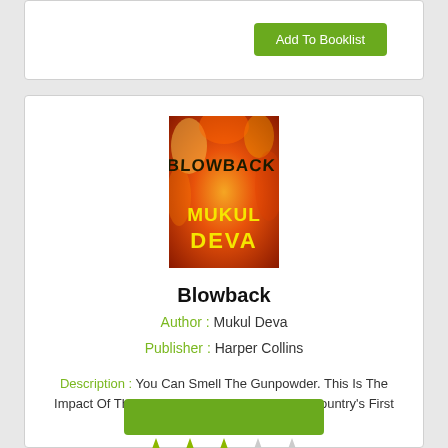[Figure (other): Green 'Add To Booklist' button]
[Figure (photo): Book cover of 'Blowback' by Mukul Deva — fiery red/orange background with bold black title text 'BLOWBACK' and yellow author name 'MUKUL DEVA']
Blowback
Author : Mukul Deva
Publisher : Harper Collins
Description : You Can Smell The Gunpowder. This Is The Impact Of The Words Of Mukul Deva ... The Country's First M...
[Figure (other): Star rating: 3 out of 5 stars (3 filled green stars, 2 empty/grey stars)]